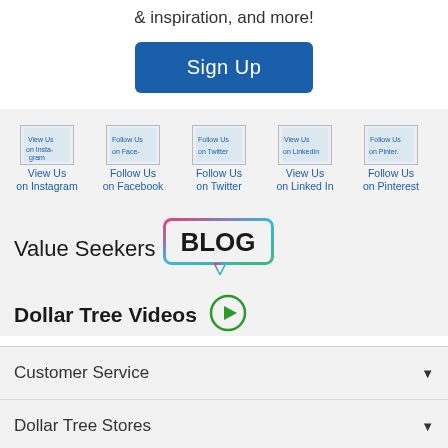& inspiration, and more!
Sign Up
[Figure (infographic): Five social media icon placeholders labeled: View Us on Instagram, Follow Us on Facebook, Follow Us on Twitter, View Us on Linked In, Follow Us on Pinterest]
[Figure (logo): Value Seekers BLOG logo with speech bubble graphic around BLOG text]
Dollar Tree Videos with play button circle icon
Customer Service
Dollar Tree Stores